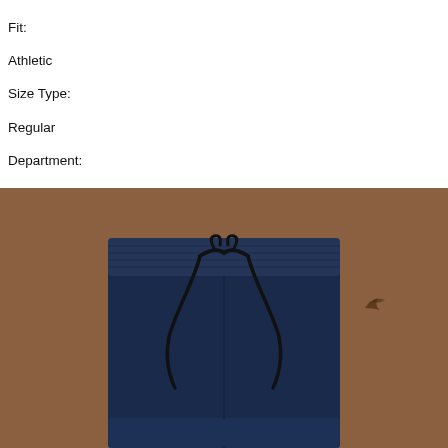Fit:
Athletic
Size Type:
Regular
Department:
Men
Inseam:
19 in
Theme:
Sports
Style:
Athletic
Performance/Activity:
Gym & Training
[Figure (photo): A man wearing navy blue athletic shorts with a drawstring waistband. The photo shows him from waist to thigh level, shirtless, with a tattoo visible on his right arm.]